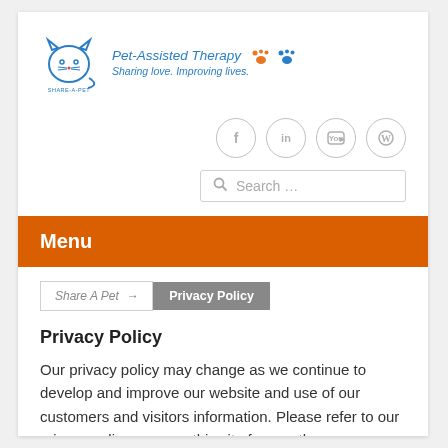[Figure (logo): Share-A-Pet logo with cat silhouette and text 'SHARE-A-PET' below, alongside 'Pet-Assisted Therapy / Sharing love. Improving lives.' and orange/blue paw print icons]
[Figure (infographic): Row of four social media icon circles: Facebook (f), LinkedIn (in), YouTube, WordPress]
[Figure (other): Search input box with magnifying glass icon and placeholder text 'Search ...']
Menu
Share A Pet → Privacy Policy
Privacy Policy
Our privacy policy may change as we continue to develop and improve our website and use of our customers and visitors information. Please refer to our privacy policy page on this site frequently